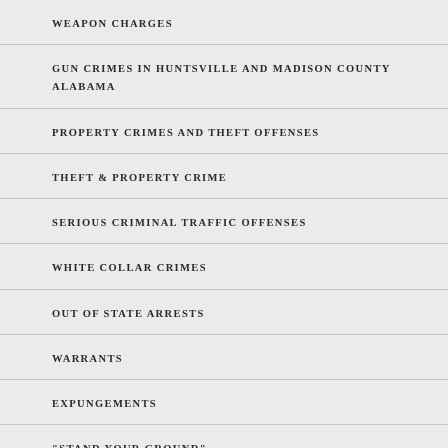WEAPON CHARGES
GUN CRIMES IN HUNTSVILLE AND MADISON COUNTY ALABAMA
PROPERTY CRIMES AND THEFT OFFENSES
THEFT & PROPERTY CRIME
SERIOUS CRIMINAL TRAFFIC OFFENSES
WHITE COLLAR CRIMES
OUT OF STATE ARRESTS
WARRANTS
EXPUNGEMENTS
"STAND YOUR GROUND"